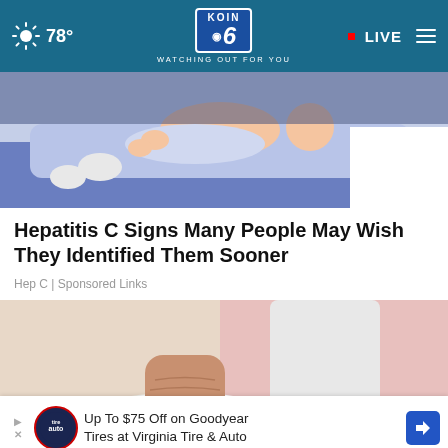78° KOIN CBS 6 WATCHING OUT FOR YOU • LIVE
[Figure (illustration): Illustration of a baby being examined by a medical professional on a table, blue/lavender tones]
Hepatitis C Signs Many People May Wish They Identified Them Sooner
Hep C | Sponsored Links
[Figure (photo): Close-up photo of a person wearing white and gold sneakers with white jeans, pink background]
Up To $75 Off on Goodyear Tires at Virginia Tire & Auto